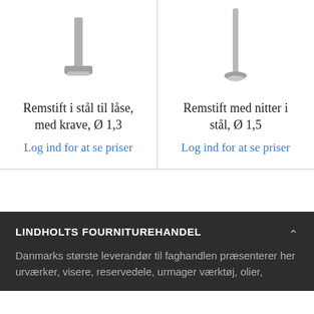[Figure (photo): Steel remstift with collar, Ø 1.3 — product photo showing a metal pin/bolt with a collar head, photographed on white background (left column)]
Remstift i stål til låse, med krave, Ø 1,3
Log ind for at se priser
[Figure (photo): Steel remstift with rivets, Ø 1.5 — product photo showing a long metal shaft with a small flanged base, photographed on white background (right column)]
Remstift med nitter i stål, Ø 1,5
Log ind for at se priser
LINDHOLTS FOURNITUREHANDEL
Danmarks største leverandør til faghandlen præsenterer her urværker, visere, reservedele, urmager værktøj, olier,